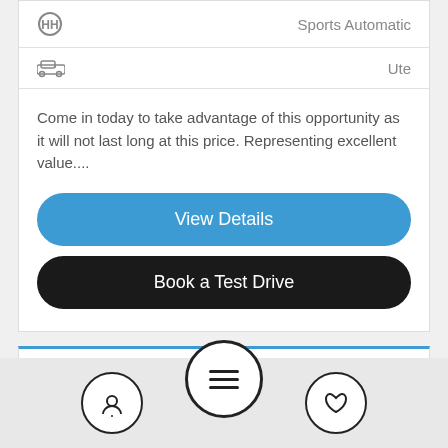Sports Automatic
Ute
Come in today to take advantage of this opportunity as it will not last long at this price. Representing excellent value....
View Details
Book a Test Drive
2018 Honda CR-V VTi RW
$35,990 Drive Away